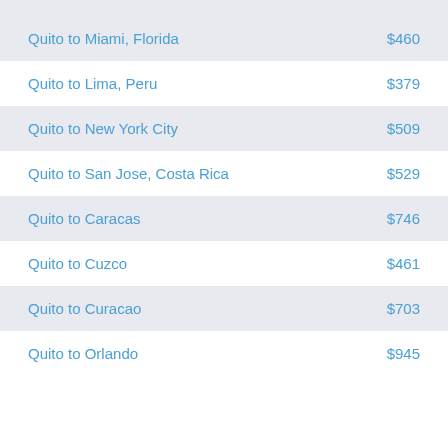| Route | Price |
| --- | --- |
| Quito to Miami, Florida | $460 |
| Quito to Lima, Peru | $379 |
| Quito to New York City | $509 |
| Quito to San Jose, Costa Rica | $529 |
| Quito to Caracas | $746 |
| Quito to Cuzco | $461 |
| Quito to Curacao | $703 |
| Quito to Orlando | $945 |